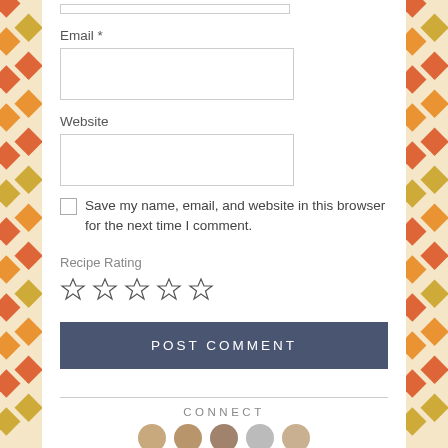Email *
Website
Save my name, email, and website in this browser for the next time I comment.
Recipe Rating
[Figure (other): Five empty star rating icons]
POST COMMENT
CONNECT